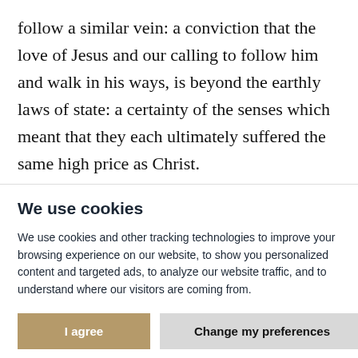follow a similar vein: a conviction that the love of Jesus and our calling to follow him and walk in his ways, is beyond the earthly laws of state: a certainty of the senses which meant that they each ultimately suffered the same high price as Christ. This prayerful space, alongside the simplicity of the
We use cookies
We use cookies and other tracking technologies to improve your browsing experience on our website, to show you personalized content and targeted ads, to analyze our website traffic, and to understand where our visitors are coming from.
I agree | Change my preferences